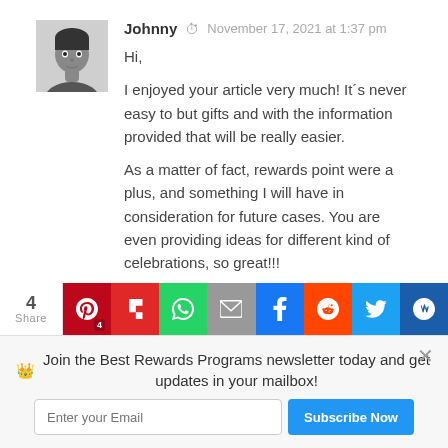[Figure (photo): Avatar photo of commenter Johnny, grayscale portrait of a young man]
Johnny  November 17, 2021 at 1:37 pm
Hi,

I enjoyed your article very much! It´s never easy to but gifts and with the information provided that will be really easier.

As a matter of fact, rewards point were a plus, and something I will have in consideration for future cases. You are even providing ideas for different kind of celebrations, so great!!!

Thanks a lot!!!!
4 Share | Pinterest 4 | Flipboard | WhatsApp | Email | Facebook | Reddit | Twitter | Mix
Join the Best Rewards Programs newsletter today and get updates in your mailbox!
Enter your Email | Subscribe Now